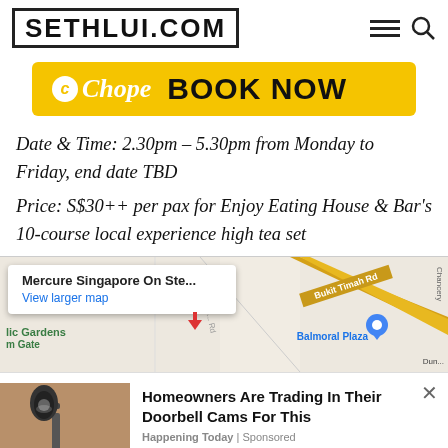SETHLUI.COM
[Figure (screenshot): Chope Book Now banner with yellow background]
Date & Time: 2.30pm – 5.30pm from Monday to Friday, end date TBD
Price: S$30++ per pax for Enjoy Eating House & Bar's 10-course local experience high tea set
[Figure (map): Google Maps showing Mercure Singapore On Ste... with popup and View larger map link. Map shows ZEN Rooms, Bukit Timah Rd, Balmoral Plaza, lic Gardens, Chancery area.]
[Figure (photo): Advertisement: Homeowners Are Trading In Their Doorbell Cams For This, Happening Today | Sponsored, showing outdoor lamp photo]